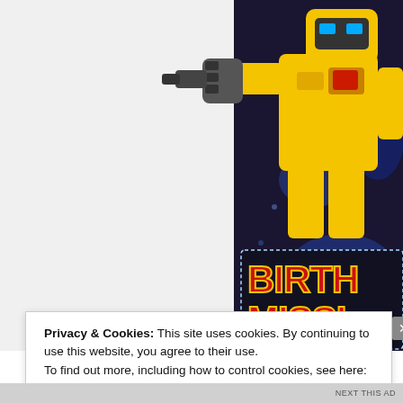[Figure (illustration): Transformers Bumblebee robot holding weapon, with bold red text reading BIRTH[DAY] MISS[ION] ACCEP[TED] on a dark blue cosmic background with yellow outlined letters.]
Privacy & Cookies: This site uses cookies. By continuing to use this website, you agree to their use.
To find out more, including how to control cookies, see here: Cookie Policy
Close and accept